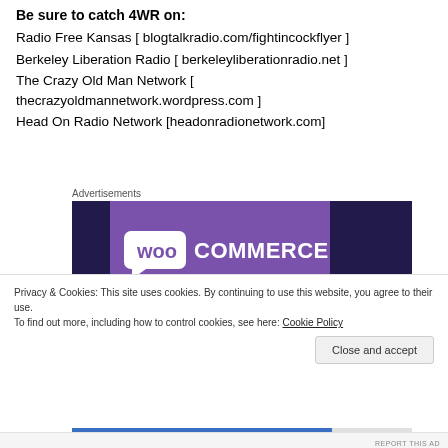Be sure to catch 4WR on:
Radio Free Kansas [ blogtalkradio.com/fightincockflyer ]
Berkeley Liberation Radio [ berkeleyliberationradio.net ]
The Crazy Old Man Network [ thecrazyoldmannetwork.wordpress.com ]
Head On Radio Network [headonradionetwork.com]
Advertisements
[Figure (logo): WooCommerce advertisement banner with purple and dark navy background and teal accent]
Privacy & Cookies: This site uses cookies. By continuing to use this website, you agree to their use.
To find out more, including how to control cookies, see here: Cookie Policy
Close and accept